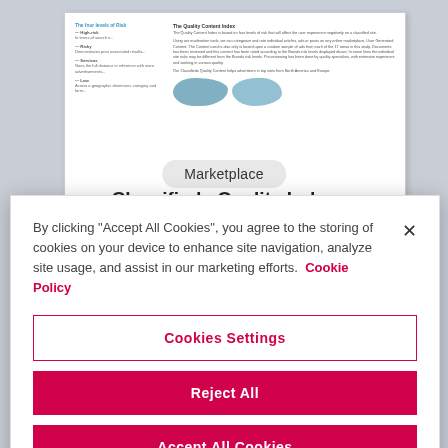[Figure (screenshot): A blurred/small document page preview showing 'The Quality Content Index' with two-column layout and a world map illustration, plus a 'Marketplace' badge and 'Classifieds Quality Index' heading partially visible.]
By clicking "Accept All Cookies", you agree to the storing of cookies on your device to enhance site navigation, analyze site usage, and assist in our marketing efforts.  Cookie Policy
Cookies Settings
Reject All
Accept All Cookies